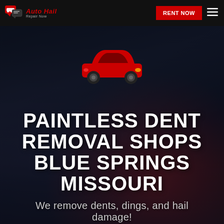Auto Hail Repair Now | Rent Now
[Figure (logo): Red car icon with chat/repair logo and Auto Hail / Repair Now text]
PAINTLESS DENT REMOVAL SHOPS BLUE SPRINGS MISSOURI
We remove dents, dings, and hail damage!